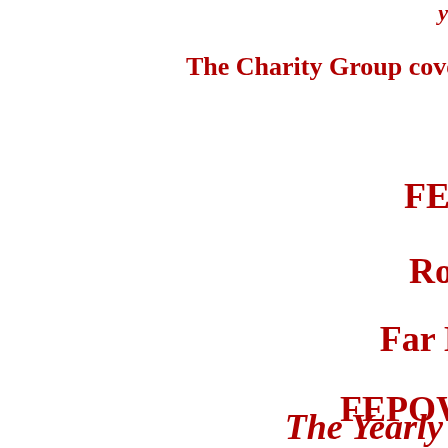The Charity Group cover the
FEPO
Roll o
Far Eas
FEPOW
Brita
FEP
The Yearly Sub